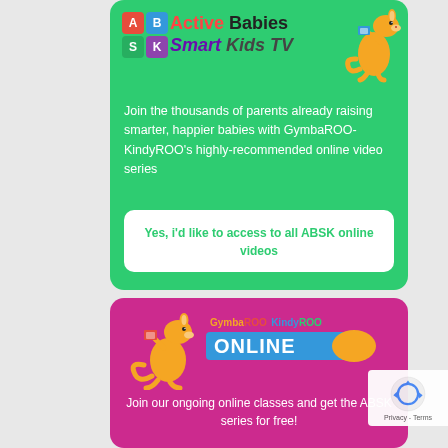[Figure (illustration): Active Babies Smart Kids TV logo with ABSK colored blocks, kangaroo mascot, and text on green background card]
Join the thousands of parents already raising smarter, happier babies with GymbaROO-KindyROO's highly-recommended online video series
Yes, i'd like to access to all ABSK online videos
[Figure (logo): GymbaROO KindyROO Online logo with kangaroo mascot on magenta/pink background card]
Join our ongoing online classes and get the ABSK series for free!